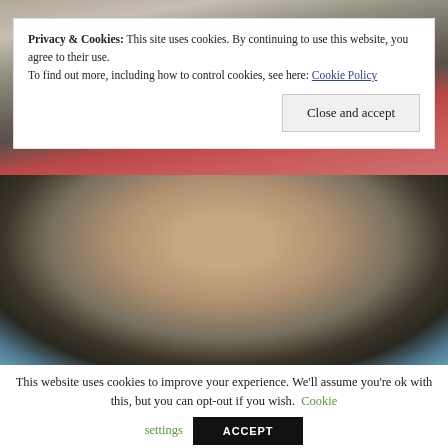[Figure (photo): Top portion of a photo showing people standing outdoors, cropped at torso level with colorful clothing visible]
Privacy & Cookies: This site uses cookies. By continuing to use this website, you agree to their use.
To find out more, including how to control cookies, see here: Cookie Policy
Close and accept
[Figure (photo): Photo of a man in a dark shirt holding up his hand with fingers spread, outdoors against a blue sky]
This website uses cookies to improve your experience. We'll assume you're ok with this, but you can opt-out if you wish.  Cookie settings
ACCEPT